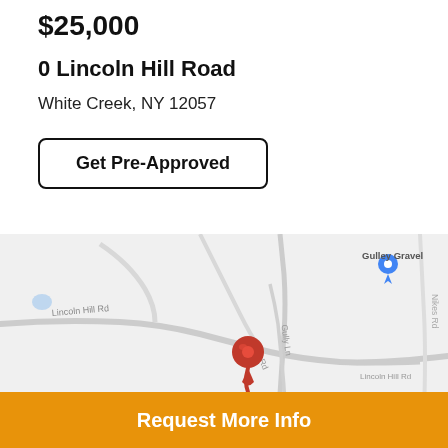$25,000
0 Lincoln Hill Road
White Creek, NY 12057
Get Pre-Approved
[Figure (map): Map showing 0 Lincoln Hill Road in White Creek, NY. A red location pin marks the property on Lincoln Hill Road. 'Gulley Gravel' business is marked with a blue pin in the upper right. Roads visible include Lincoln Hill Rd, Gully Ln, and Nikes Rd.]
Request More Info